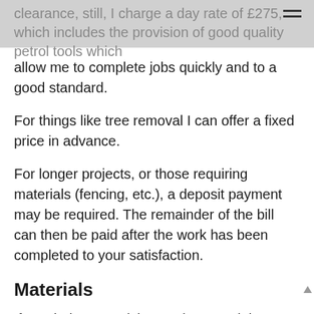clearance, still, I charge a day rate of £275, which includes the provision of good quality petrol tools which
allow me to complete jobs quickly and to a good standard.
For things like tree removal I can offer a fixed price in advance.
For longer projects, or those requiring materials (fencing, etc.), a deposit payment may be required. The remainder of the bill can then be paid after the work has been completed to your satisfaction.
Materials
If needed, I can advise on the materials needed for a job and, using your deposit, purchase these items on your behalf.